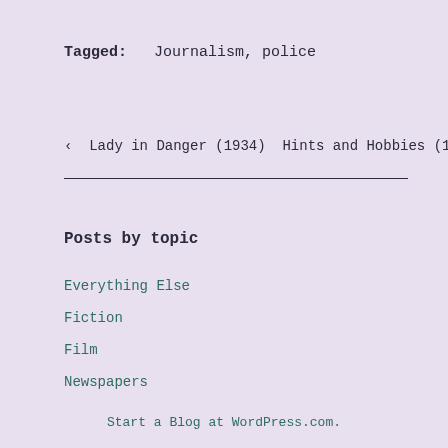Tagged: Journalism, police
‹ Lady in Danger (1934) Hints and Hobbies (1926) ›
Posts by topic
Everything Else
Fiction
Film
Newspapers
Start a Blog at WordPress.com.